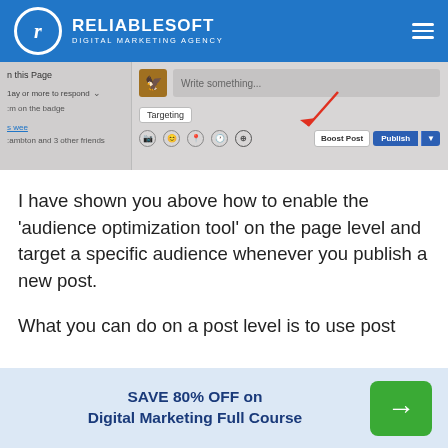RELIABLESOFT DIGITAL MARKETING AGENCY
[Figure (screenshot): Screenshot of a Facebook page post composer showing 'Write something...' text field, Targeting button, icons for photo/emoji/location/etc., Boost Post button, and Publish button with a red arrow pointing to the targeting/audience optimization icon.]
I have shown you above how to enable the 'audience optimization tool' on the page level and target a specific audience whenever you publish a new post.
What you can do on a post level is to use post
SAVE 80% OFF on Digital Marketing Full Course